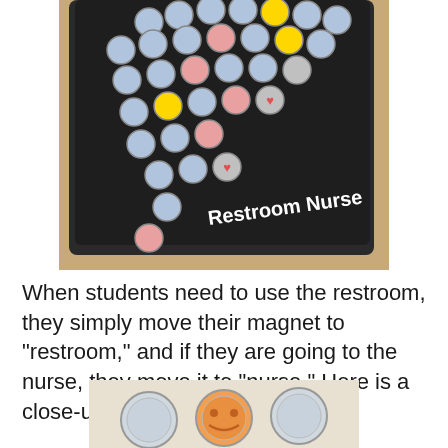[Figure (photo): A black magnetic board/tray with circular magnets arranged in a grid pattern, with labels 'Restroom' and 'Nurse' visible in white text on the board. The board sits on a wooden surface.]
When students need to use the restroom, they simply move their magnet to “restroom,” and if they are going to the nurse, they move it to “nurse.” Here is a close-up of the magnets.
[Figure (photo): A close-up photo of circular magnets with small icons/images inside them, sitting on a light surface.]